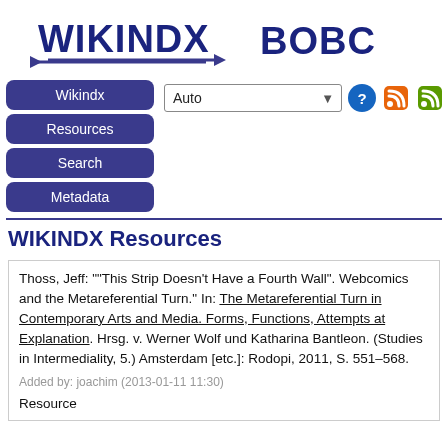[Figure (logo): WIKINDX logo with left-pointing arrow underline and right-pointing arrow]
[Figure (logo): BOBC logo (partially visible, cropped at right edge)]
[Figure (screenshot): Navigation menu with buttons: Wikindx, Resources, Search, Metadata; Auto dropdown selector; help icon; two RSS feed icons]
WIKINDX Resources
Thoss, Jeff: ""This Strip Doesn't Have a Fourth Wall". Webcomics and the Metareferential Turn." In: The Metareferential Turn in Contemporary Arts and Media. Forms, Functions, Attempts at Explanation. Hrsg. v. Werner Wolf und Katharina Bantleon. (Studies in Intermediality, 5.) Amsterdam [etc.]: Rodopi, 2011, S. 551–568.
Added by: joachim (2013-01-11 11:30)
Resource